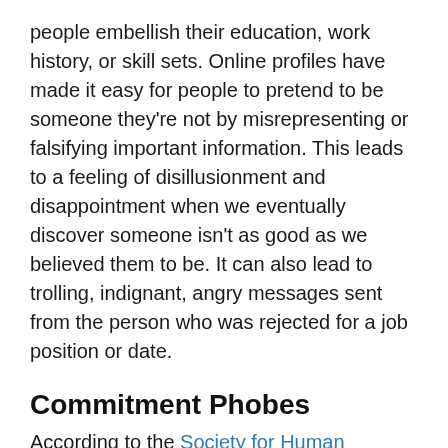people embellish their education, work history, or skill sets. Online profiles have made it easy for people to pretend to be someone they're not by misrepresenting or falsifying important information. This leads to a feeling of disillusionment and disappointment when we eventually discover someone isn't as good as we believed them to be. It can also lead to trolling, indignant, angry messages sent from the person who was rejected for a job position or date.
Commitment Phobes
According to the Society for Human Resource Management, the average cost-per-hire is